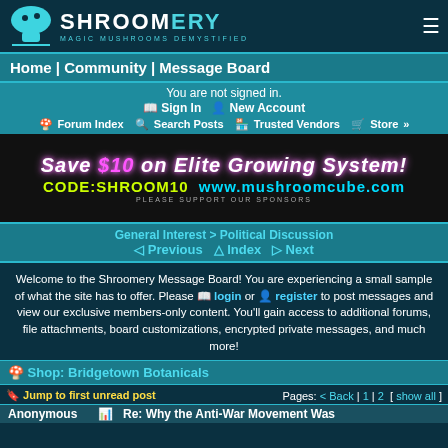[Figure (logo): Shroomery logo with mushroom icon and text 'SHROOMERY - MAGIC MUSHROOMS DEMYSTIFIED']
Home | Community | Message Board
You are not signed in.
📖 Sign In  👤 New Account
🍄 Forum Index  🔍 Search Posts  🏪 Trusted Vendors  🛒 Store »
[Figure (other): Advertisement banner: Save $10 on Elite Growing System! CODE:SHROOM10  www.mushroomcube.com - PLEASE SUPPORT OUR SPONSORS]
General Interest > Political Discussion
◁ Previous  △ Index  ▷ Next
Welcome to the Shroomery Message Board! You are experiencing a small sample of what the site has to offer. Please 📖 login or 👤 register to post messages and view our exclusive members-only content. You'll gain access to additional forums, file attachments, board customizations, encrypted private messages, and much more!
🍄 Shop: Bridgetown Botanicals
🔖 Jump to first unread post   Pages: < Back | 1 | 2 [ show all ]
Anonymous   Re: Why the Anti-War Movement Was